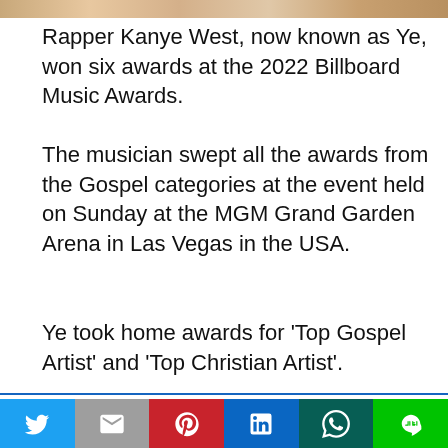Rapper Kanye West, now known as Ye, won six awards at the 2022 Billboard Music Awards.
The musician swept all the awards from the Gospel categories at the event held on Sunday at the MGM Grand Garden Arena in Las Vegas in the USA.
Ye took home awards for ‘Top Gospel Artist’ and ‘Top Christian Artist’.
This website uses cookies.